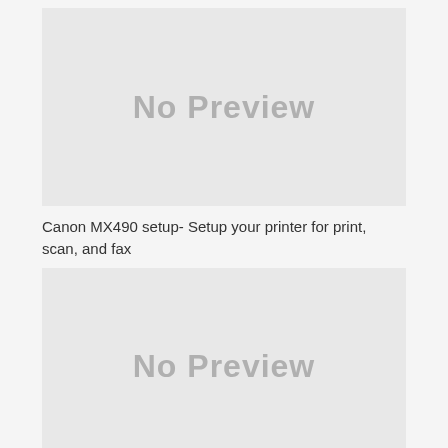[Figure (other): No Preview placeholder box (top)]
Canon MX490 setup- Setup your printer for print, scan, and fax
[Figure (other): No Preview placeholder box (bottom)]